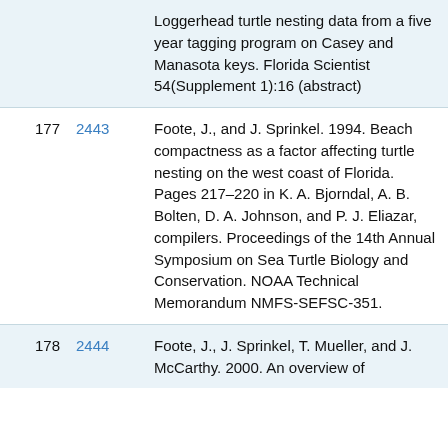| # | ID | Reference |
| --- | --- | --- |
|  |  | Loggerhead turtle nesting data from a five year tagging program on Casey and Manasota keys. Florida Scientist 54(Supplement 1):16 (abstract) |
| 177 | 2443 | Foote, J., and J. Sprinkel. 1994. Beach compactness as a factor affecting turtle nesting on the west coast of Florida. Pages 217–220 in K. A. Bjorndal, A. B. Bolten, D. A. Johnson, and P. J. Eliazar, compilers. Proceedings of the 14th Annual Symposium on Sea Turtle Biology and Conservation. NOAA Technical Memorandum NMFS-SEFSC-351. |
| 178 | 2444 | Foote, J., J. Sprinkel, T. Mueller, and J. McCarthy. 2000. An overview of |